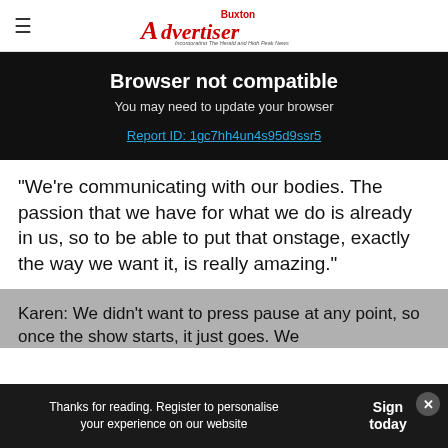Buxton Advertiser — Incorporating The Herald and High Peak News
Browser not compatible
You may need to update your browser
Report ID: 1gc7hh4un4s95d9ssr5
"We're communicating with our bodies. The passion that we have for what we do is already in us, so to be able to put that onstage, exactly the way we want it, is really amazing."
Karen: We didn't want to press pause at any point, so once the show starts, it just goes. We
Thanks for reading. Register to personalise your experience on our website | Sign today